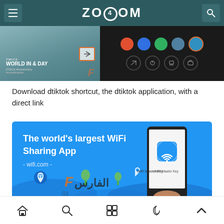ZOOOM
[Figure (screenshot): Screenshot strip showing TikTok video 'WORLD IN A DAY' on the left and dark UI with circular icons on the right]
Download dtiktok shortcut, the dtiktok application, with a direct link
[Figure (photo): Advertisement banner for WiFi Master Key app - 'The world's largest WiFi Sharing App - wifi.com -' with phone displaying the app, location pins, and Al-Fares watermark on blue background]
Navigation bar with home, search, grid, moon, and up-arrow icons